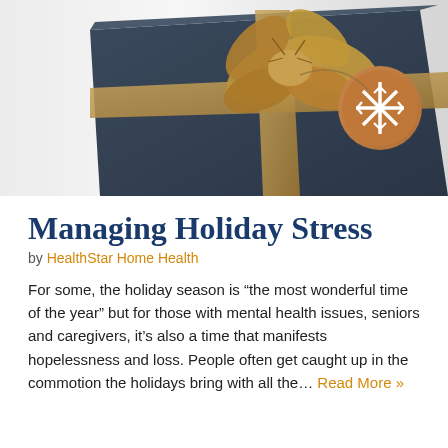[Figure (photo): A dark navy gift box wrapped with a burlap/tan ribbon bow and a round gift tag with a white snowflake design, on a light grey background.]
Managing Holiday Stress
by HealthStar Home Health
For some, the holiday season is “the most wonderful time of the year” but for those with mental health issues, seniors and caregivers, it’s also a time that manifests hopelessness and loss. People often get caught up in the commotion the holidays bring with all the… Read More »